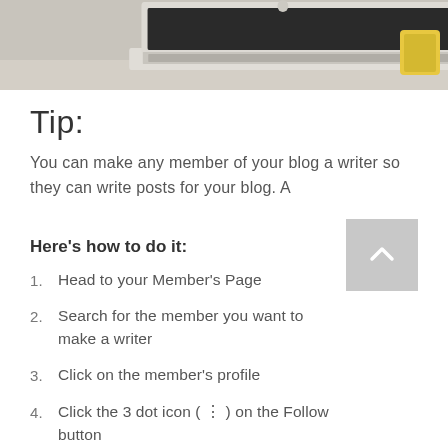[Figure (photo): Partial view of a laptop on a desk, showing keyboard and top of the screen from above]
Tip:
You can make any member of your blog a writer so they can write posts for your blog. A
Here's how to do it:
Head to your Member's Page
Search for the member you want to make a writer
Click on the member's profile
Click the 3 dot icon ( ⋮ ) on the Follow button